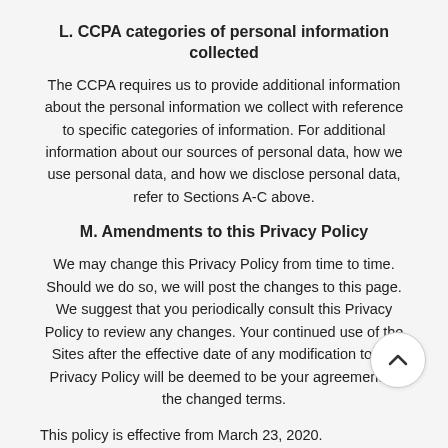L. CCPA categories of personal information collected
The CCPA requires us to provide additional information about the personal information we collect with reference to specific categories of information. For additional information about our sources of personal data, how we use personal data, and how we disclose personal data, refer to Sections A-C above.
M. Amendments to this Privacy Policy
We may change this Privacy Policy from time to time. Should we do so, we will post the changes to this page. We suggest that you periodically consult this Privacy Policy to review any changes. Your continued use of the Sites after the effective date of any modification to the Privacy Policy will be deemed to be your agreement to the changed terms.
This policy is effective from March 23, 2020.